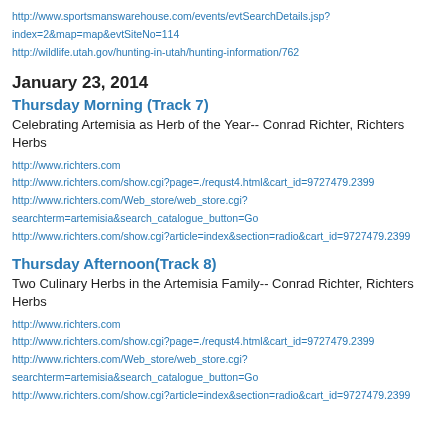http://www.sportsmanswarehouse.com/events/evtSearchDetails.jsp?
index=2&map=map&evtSiteNo=114
http://wildlife.utah.gov/hunting-in-utah/hunting-information/762
January 23, 2014
Thursday Morning (Track 7)
Celebrating Artemisia as Herb of the Year-- Conrad Richter, Richters Herbs
http://www.richters.com
http://www.richters.com/show.cgi?page=./requst4.html&cart_id=9727479.2399
http://www.richters.com/Web_store/web_store.cgi?
searchterm=artemisia&search_catalogue_button=Go
http://www.richters.com/show.cgi?article=index&section=radio&cart_id=9727479.2399
Thursday Afternoon(Track 8)
Two Culinary Herbs in the Artemisia Family-- Conrad Richter, Richters Herbs
http://www.richters.com
http://www.richters.com/show.cgi?page=./requst4.html&cart_id=9727479.2399
http://www.richters.com/Web_store/web_store.cgi?
searchterm=artemisia&search_catalogue_button=Go
http://www.richters.com/show.cgi?article=index&section=radio&cart_id=9727479.2399